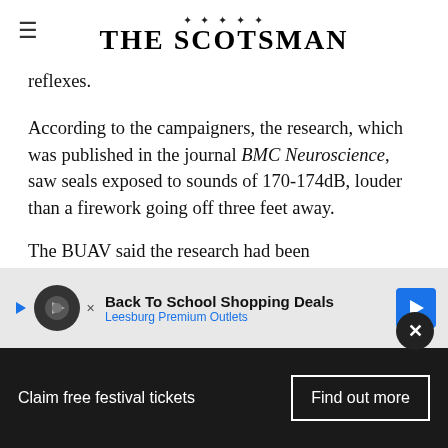[Figure (logo): The Scotsman newspaper masthead logo with decorative thistle ornament above the text]
reflexes.
According to the campaigners, the research, which was published in the journal BMC Neuroscience, saw seals exposed to sounds of 170-174dB, louder than a firework going off three feet away.
The BUAV said the research had been unlikely... it had not been "clear cut" whether the
[Figure (infographic): Advertisement overlay: Back To School Shopping Deals - Leesburg Premium Outlets]
[Figure (infographic): Bottom banner: Claim free festival tickets - Find out more]